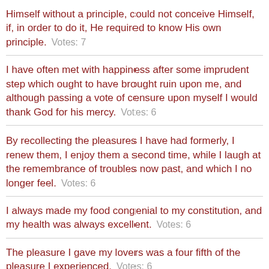Himself without a principle, could not conceive Himself, if, in order to do it, He required to know His own principle.   Votes: 7
I have often met with happiness after some imprudent step which ought to have brought ruin upon me, and although passing a vote of censure upon myself I would thank God for his mercy.   Votes: 6
By recollecting the pleasures I have had formerly, I renew them, I enjoy them a second time, while I laugh at the remembrance of troubles now past, and which I no longer feel.   Votes: 6
I always made my food congenial to my constitution, and my health was always excellent.   Votes: 6
The pleasure I gave my lovers was a four fifth of the pleasure I experienced.   Votes: 6